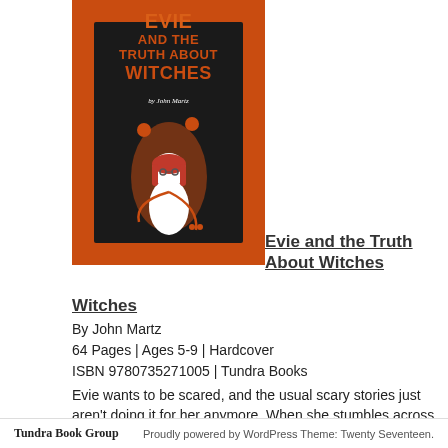[Figure (illustration): Book cover of 'Evie and the Truth About Witches' by John Martz. Orange and black cover with a stylized girl illustration in the center.]
Evie and the Truth About Witches
By John Martz
64 Pages | Ages 5-9 | Hardcover
ISBN 9780735271005 | Tundra Books
Evie wants to be scared, and the usual scary stories just aren't doing it for her anymore. When she stumbles across a different sort of book, The Truth about Witches, she hopes she's found something thrilling . . .
Tundra Book Group    Proudly powered by WordPress Theme: Twenty Seventeen.